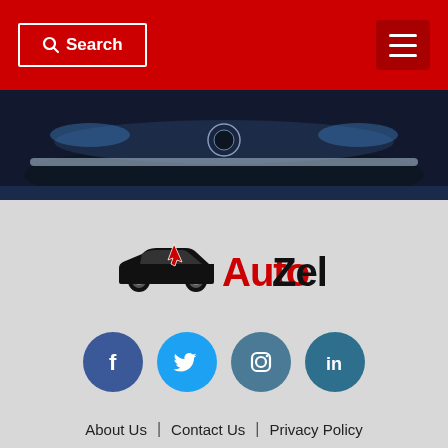Search  [hamburger menu]
[Figure (photo): Car front grille/bumper detail photo, dark blue tones with chrome accent strip, against a dark background]
[Figure (logo): AutoZel logo — car silhouette with cursor icon, 'Auto' in red bold text, 'Zel' in black bold text]
[Figure (infographic): Four social media icon circles: Facebook (dark blue), Twitter (light blue), Instagram (teal-blue), LinkedIn (teal)]
About Us  |  Contact Us  |  Privacy Policy